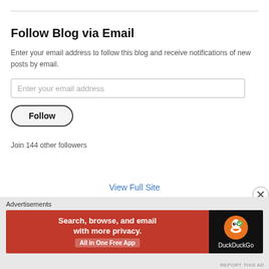Follow Blog via Email
Enter your email address to follow this blog and receive notifications of new posts by email.
Enter your email address
Follow
Join 144 other followers
View Full Site
Advertisements
[Figure (infographic): DuckDuckGo advertisement banner: 'Search, browse, and email with more privacy. All in One Free App' with DuckDuckGo logo on dark background.]
REPORT THIS AD